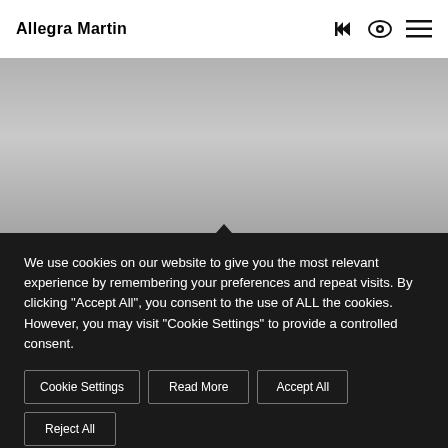Allegra Martin
[Figure (photo): Blurred grey/silver hero image background]
We use cookies on our website to give you the most relevant experience by remembering your preferences and repeat visits. By clicking "Accept All", you consent to the use of ALL the cookies. However, you may visit "Cookie Settings" to provide a controlled consent.
Cookie Settings
Read More
Accept All
Reject All